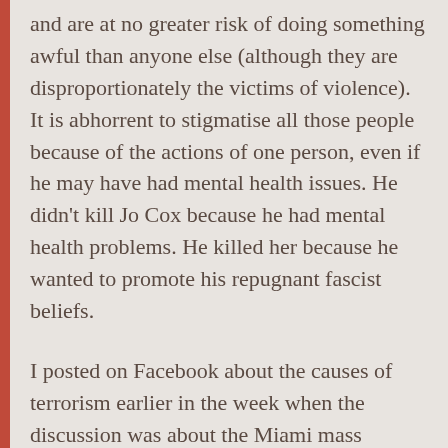and are at no greater risk of doing something awful than anyone else (although they are disproportionately the victims of violence). It is abhorrent to stigmatise all those people because of the actions of one person, even if he may have had mental health issues. He didn't kill Jo Cox because he had mental health problems. He killed her because he wanted to promote his repugnant fascist beliefs.
I posted on Facebook about the causes of terrorism earlier in the week when the discussion was about the Miami mass murder, and this is exactly the same. This was what I wrote:
Just a reminder, but mental illness is not a cause of